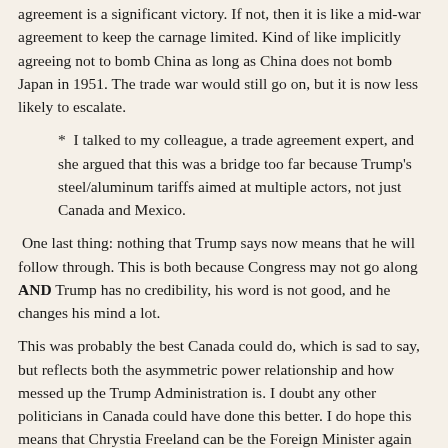agreement is a significant victory.  If not, then it is like a mid-war agreement to keep the carnage limited.  Kind of like implicitly agreeing not to bomb China as long as China does not bomb Japan in 1951.  The trade war would still go on, but it is now less likely to escalate.
*  I talked to my colleague, a trade agreement expert, and she argued that this was a bridge too far because Trump's steel/aluminum tariffs aimed at multiple actors, not just Canada and Mexico.
One last thing: nothing that Trump says now means that he will follow through.  This is both because Congress may not go along AND Trump has no credibility, his word is not good, and he changes his mind a lot.
This was probably the best Canada could do, which is sad to say, but reflects both the asymmetric power relationship and how messed up the Trump Administration is.  I doubt any other politicians in Canada could have done this better.  I do hope this means that Chrystia Freeland can be the Foreign Minister again and not just the trade negotiator.